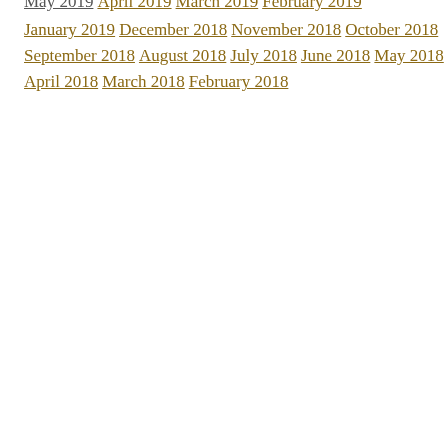May 2019
April 2019
March 2019
February 2019
January 2019
December 2018
November 2018
October 2018
September 2018
August 2018
July 2018
June 2018
May 2018
April 2018
March 2018
February 2018